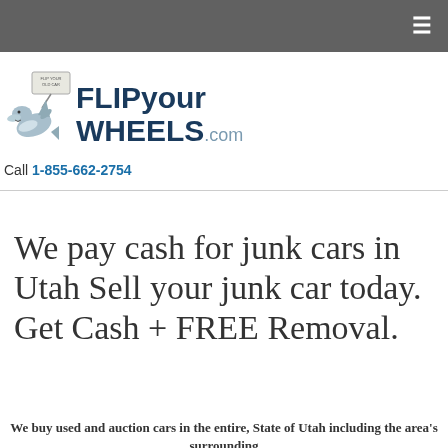≡
[Figure (logo): FLIPyourWHEELS.com logo with a cartoon dolphin holding a sign]
Call 1-855-662-2754
We pay cash for junk cars in Utah Sell your junk car today. Get Cash + FREE Removal.
We buy used and auction cars in the entire, State of Utah including the area's surrounding